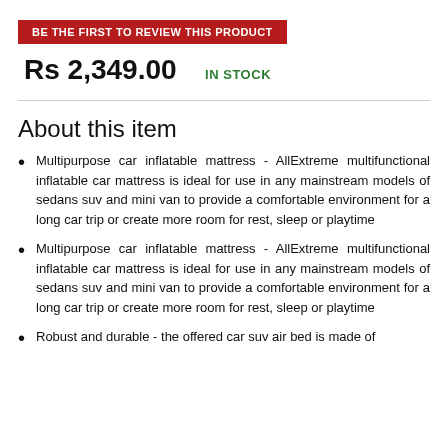BE THE FIRST TO REVIEW THIS PRODUCT
Rs 2,349.00
IN STOCK
About this item
Multipurpose car inflatable mattress - AllExtreme multifunctional inflatable car mattress is ideal for use in any mainstream models of sedans suv and mini van to provide a comfortable environment for a long car trip or create more room for rest, sleep or playtime
Multipurpose car inflatable mattress - AllExtreme multifunctional inflatable car mattress is ideal for use in any mainstream models of sedans suv and mini van to provide a comfortable environment for a long car trip or create more room for rest, sleep or playtime
Robust and durable - the offered car suv air bed is made of